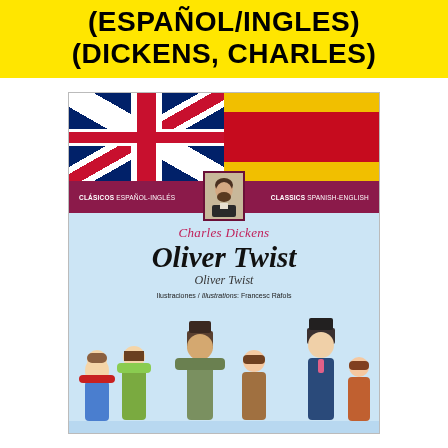(ESPAÑOL/INGLES) (DICKENS, CHARLES)
[Figure (illustration): Book cover of Oliver Twist by Charles Dickens, bilingual Spanish-English edition. Top half shows UK and Spanish flags. A red band with 'CLASICOS ESPAÑOL-INGLES' and 'CLASSICS SPANISH-ENGLISH' labels flanks a portrait of Charles Dickens. Lower portion has light blue background with 'Charles Dickens' in pink script, 'Oliver Twist' in large italic black font, 'Oliver Twist' subtitle in smaller italic, illustrator credit 'Ilustraciones / Illustrations: Francesc Ràfols', and cartoon characters at the bottom.]